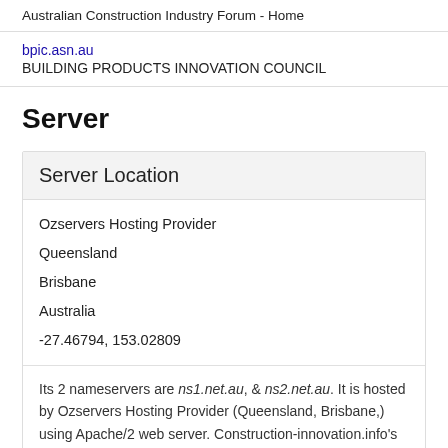Australian Construction Industry Forum - Home
bpic.asn.au
BUILDING PRODUCTS INNOVATION COUNCIL
Server
Server Location
Ozservers Hosting Provider
Queensland
Brisbane
Australia
-27.46794, 153.02809
Its 2 nameservers are ns1.net.au, & ns2.net.au. It is hosted by Ozservers Hosting Provider (Queensland, Brisbane,) using Apache/2 web server. Construction-innovation.info's IP address is 202.125.42.65.
IP: